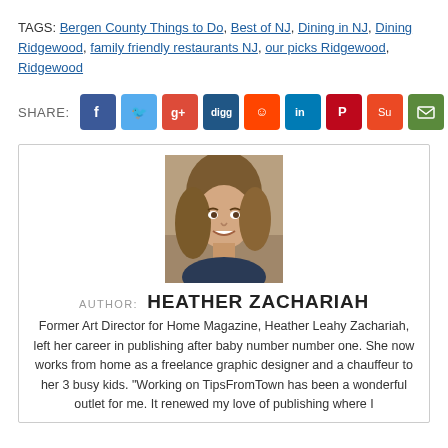TAGS: Bergen County Things to Do, Best of NJ, Dining in NJ, Dining Ridgewood, family friendly restaurants NJ, our picks Ridgewood, Ridgewood
[Figure (infographic): Social share buttons row: Facebook, Twitter, Google+, Digg, Reddit, LinkedIn, Pinterest, StumbleUpon, Email]
[Figure (photo): Headshot photo of Heather Zachariah, a woman with long blonde/brown hair, smiling]
AUTHOR: HEATHER ZACHARIAH
Former Art Director for Home Magazine, Heather Leahy Zachariah, left her career in publishing after baby number number one. She now works from home as a freelance graphic designer and a chauffeur to her 3 busy kids. "Working on TipsFromTown has been a wonderful outlet for me. It renewed my love of publishing where I